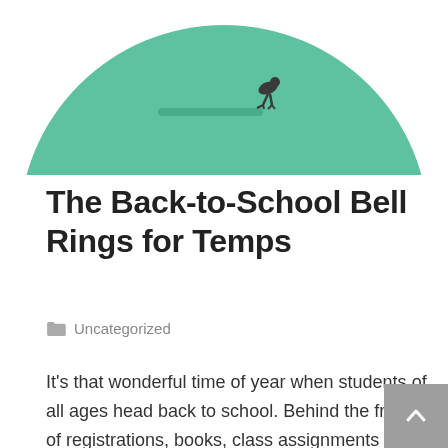[Figure (illustration): Partial circular green illustration showing a person or bird figure on top, with a horizontal bar/line element — decorative header image for a blog post about back-to-school]
The Back-to-School Bell Rings for Temps
Uncategorized
It's that wonderful time of year when students of all ages head back to school. Behind the frenzy of registrations, books, class assignments and parking passes is a well-oiled machine of administrators, executive directors, teachers, facility managers, system specialists and other professionals who have been hard at work long before the bell tolls. They make the first day, and every day, look easy. But even the best plans can go awry because schools, just like any other organization, experience staff disruptions. The “secret sauce” is to have a process that kicks in